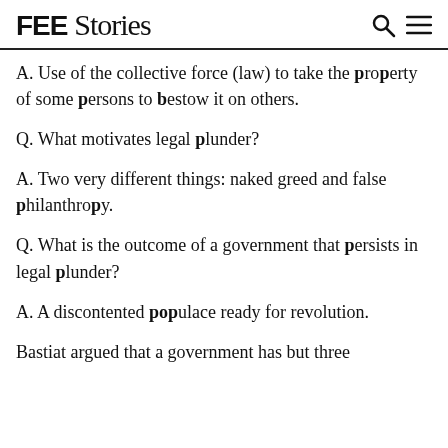FEE Stories
A. Use of the collective force (law) to take the property of some persons to bestow it on others.
Q. What motivates legal plunder?
A. Two very different things: naked greed and false philanthropy.
Q. What is the outcome of a government that persists in legal plunder?
A. A discontented populace ready for revolution.
Bastiat argued that a government has but three